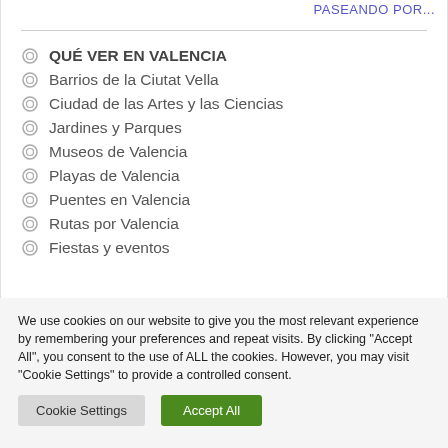PASEANDO POR...
QUÉ VER EN VALENCIA
Barrios de la Ciutat Vella
Ciudad de las Artes y las Ciencias
Jardines y Parques
Museos de Valencia
Playas de Valencia
Puentes en Valencia
Rutas por Valencia
Fiestas y eventos
We use cookies on our website to give you the most relevant experience by remembering your preferences and repeat visits. By clicking "Accept All", you consent to the use of ALL the cookies. However, you may visit "Cookie Settings" to provide a controlled consent.